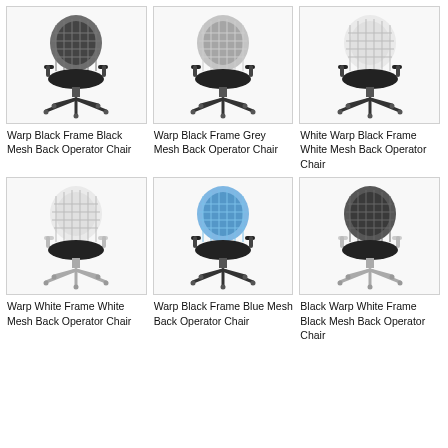[Figure (photo): Warp operator chair with black frame and black mesh back]
Warp Black Frame Black Mesh Back Operator Chair
[Figure (photo): Warp operator chair with black frame and grey mesh back]
Warp Black Frame Grey Mesh Back Operator Chair
[Figure (photo): White Warp operator chair with black frame and white mesh back]
White Warp Black Frame White Mesh Back Operator Chair
[Figure (photo): Warp operator chair with white frame and white mesh back]
Warp White Frame White Mesh Back Operator Chair
[Figure (photo): Warp operator chair with black frame and blue mesh back]
Warp Black Frame Blue Mesh Back Operator Chair
[Figure (photo): Black Warp operator chair with white frame and black mesh back]
Black Warp White Frame Black Mesh Back Operator Chair